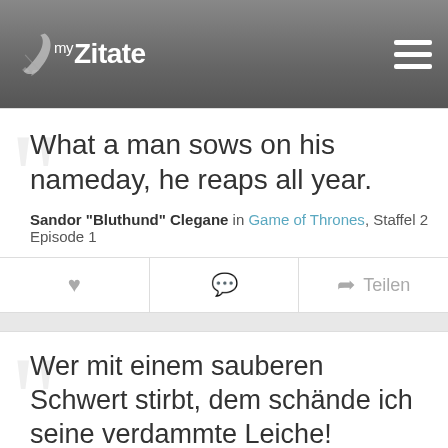myZitate
What a man sows on his nameday, he reaps all year.
Sandor "Bluthund" Clegane in Game of Thrones, Staffel 2 Episode 1
♥  💬  ↗ Teilen
Wer mit einem sauberen Schwert stirbt, dem schände ich seine verdammte Leiche!
Anyone dies with a clean sword, I'll r-pe his f-cking corpse!